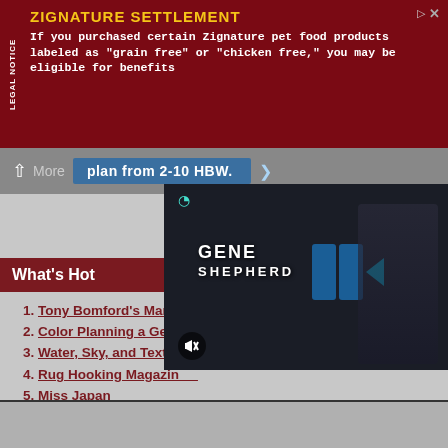[Figure (screenshot): Legal Notice ad banner for Zignature Settlement with dark red background, yellow title text, and white body text]
More
...plan from 2-10 HBW.
What's Hot
Tony Bomford's Marvelous Mathematical Rugs
Color Planning a Geometric Rug
Water, Sky, and Textile Reflections
Rug Hooking Magazine
Miss Japan
Peter's Mermaid
The Royal Couple
Noodle Control
An Intro to Rug Hooking
Stories in Wool
[Figure (screenshot): Embedded video player showing Gene Shepherd with cyan play button and mute icon overlay]